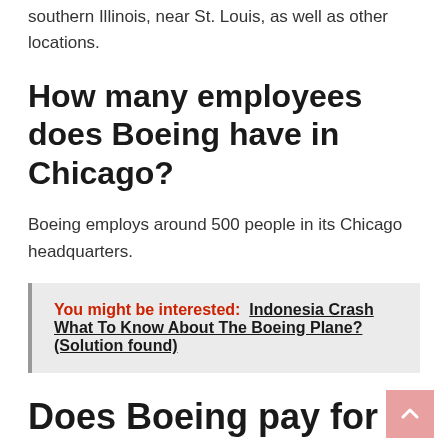southern Illinois, near St. Louis, as well as other locations.
How many employees does Boeing have in Chicago?
Boeing employs around 500 people in its Chicago headquarters.
You might be interested:  Indonesia Crash What To Know About The Boeing Plane? (Solution found)
Does Boeing pay for